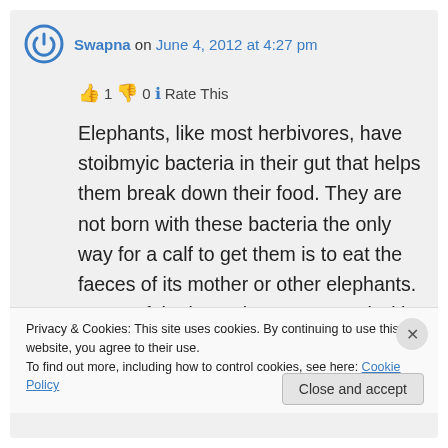Swapna on June 4, 2012 at 4:27 pm
👍 1 👎 0 ℹ Rate This
Elephants, like most herbivores, have stoibmyic bacteria in their gut that helps them break down their food. They are not born with these bacteria the only way for a calf to get them is to eat the faeces of its mother or other elephants. Some of the bacteria are excreted with the faeces, and
Privacy & Cookies: This site uses cookies. By continuing to use this website, you agree to their use.
To find out more, including how to control cookies, see here: Cookie Policy
Close and accept